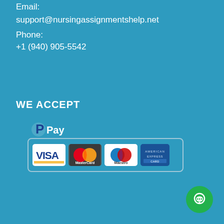Email:
support@nursingassignmentshelp.net
Phone:
+1 (940) 905-5542
WE ACCEPT
[Figure (infographic): Payment methods banner showing PayPal Pay logo above a bordered box containing VISA, MasterCard, Maestro, and American Express card logos]
[Figure (infographic): Green circular chat/support bubble button in bottom right corner]